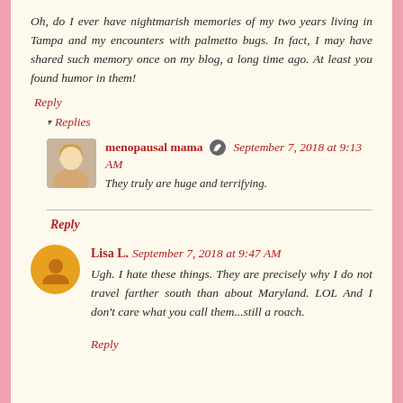Oh, do I ever have nightmarish memories of my two years living in Tampa and my encounters with palmetto bugs. In fact, I may have shared such memory once on my blog, a long time ago. At least you found humor in them!
Reply
▾ Replies
menopausal mama September 7, 2018 at 9:13 AM
They truly are huge and terrifying.
Reply
Lisa L. September 7, 2018 at 9:47 AM
Ugh. I hate these things. They are precisely why I do not travel farther south than about Maryland. LOL And I don't care what you call them...still a roach.
Reply